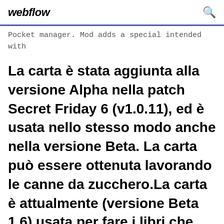webflow
Pocket manager. Mod adds a special intended with
La carta è stata aggiunta alla versione Alpha nella patch Secret Friday 6 (v1.0.11), ed è usata nello stesso modo anche nella versione Beta. La carta può essere ottenuta lavorando le canne da zucchero.La carta è attualmente (versione Beta 1.6) usata per fare i libri che sono usati per creare le librerie per decorare, e per fare le